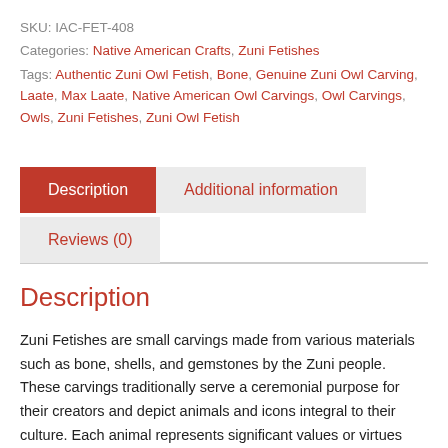SKU: IAC-FET-408
Categories: Native American Crafts, Zuni Fetishes
Tags: Authentic Zuni Owl Fetish, Bone, Genuine Zuni Owl Carving, Laate, Max Laate, Native American Owl Carvings, Owl Carvings, Owls, Zuni Fetishes, Zuni Owl Fetish
Description
Additional information
Reviews (0)
Description
Zuni Fetishes are small carvings made from various materials such as bone, shells, and gemstones by the Zuni people. These carvings traditionally serve a ceremonial purpose for their creators and depict animals and icons integral to their culture. Each animal represents significant values or virtues associated with